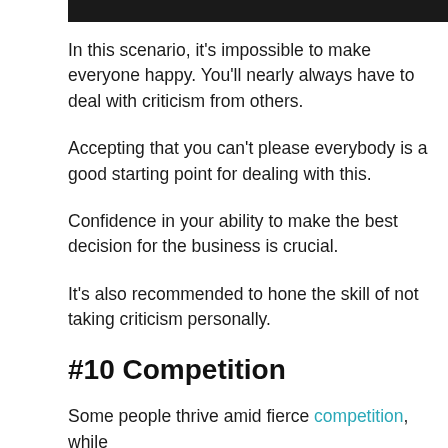[Figure (other): Black header bar at top of page]
In this scenario, it's impossible to make everyone happy. You'll nearly always have to deal with criticism from others.
Accepting that you can't please everybody is a good starting point for dealing with this.
Confidence in your ability to make the best decision for the business is crucial.
It's also recommended to hone the skill of not taking criticism personally.
#10 Competition
Some people thrive amid fierce competition, while